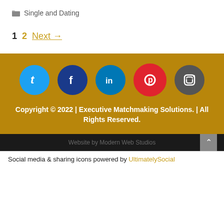Single and Dating
1  2  Next →
[Figure (illustration): Social media icons row: Twitter (cyan), Facebook (dark blue), LinkedIn (blue), Pinterest (red), Instagram (gray)]
Copyright © 2022 | Executive Matchmaking Solutions. | All Rights Reserved.
Website by Modern Web Studios
Social media & sharing icons powered by UltimatelySocial